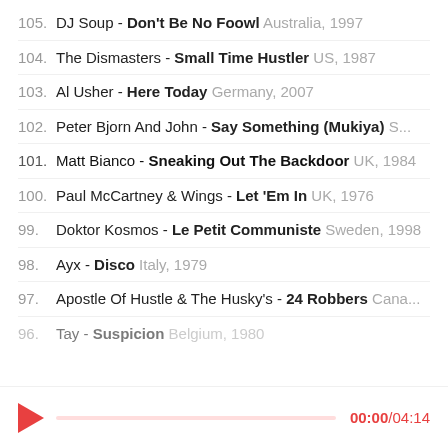105. DJ Soup - Don't Be No Foowl Australia, 1997
104. The Dismasters - Small Time Hustler US, 1987
103. Al Usher - Here Today Germany, 2007
102. Peter Bjorn And John - Say Something (Mukiya) S...
101. Matt Bianco - Sneaking Out The Backdoor UK, 1984
100. Paul McCartney & Wings - Let 'Em In UK, 1976
99. Doktor Kosmos - Le Petit Communiste Sweden, 1998
98. Ayx - Disco Italy, 1979
97. Apostle Of Hustle & The Husky's - 24 Robbers Cana...
96. Tay - Suspicion Belgium, 1980
[Figure (other): Audio player bar with play button (red triangle) on left, pink progress bar in center, and time display '00:00/04:14' in red on right]